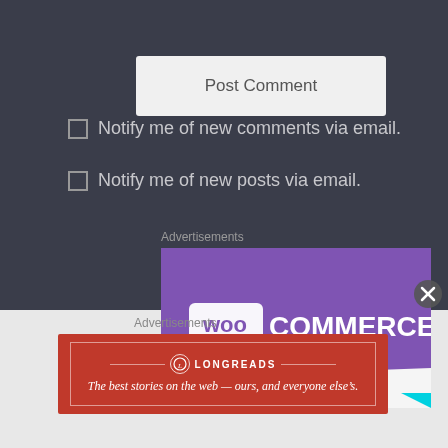[Figure (screenshot): Post Comment button on dark background]
Notify me of new comments via email.
Notify me of new posts via email.
Advertisements
[Figure (logo): WooCommerce advertisement banner with purple background and white WooCommerce logo text]
[Figure (other): Close/X button circle]
Advertisements
[Figure (logo): Longreads red advertisement banner reading: The best stories on the web — ours, and everyone else's.]